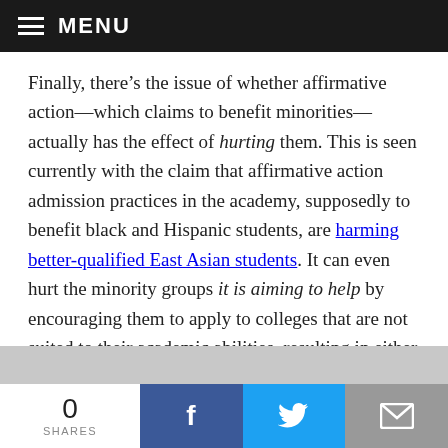MENU
Finally, there’s the issue of whether affirmative action—which claims to benefit minorities—actually has the effect of hurting them. This is seen currently with the claim that affirmative action admission practices in the academy, supposedly to benefit black and Hispanic students, are harming better-qualified East Asian students. It can even hurt the minority groups it is aiming to help by encouraging them to apply to colleges that are not suited to their academic abilities, resulting in either high minority dropout rates or grade inflation—i.e., a lowering of
0 SHARES